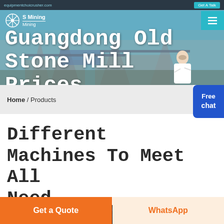equipmentchoicrusher.com  Get A Talk
[Figure (screenshot): Website header banner with industrial mining equipment background image. Shows logo with snowflake/star icon and 'S Mining' text on left, hamburger menu on teal background on right. Large white bold text reads 'Guangdong Old Stone Mill Prices'. Customer service representative figure visible in lower right of banner.]
Guangdong Old Stone Mill Prices
Home / Products
Different Machines To Meet All Need
[Figure (photo): Partial view of industrial facility interior, dark blue ceiling visible at bottom of page]
Get a Quote
WhatsApp